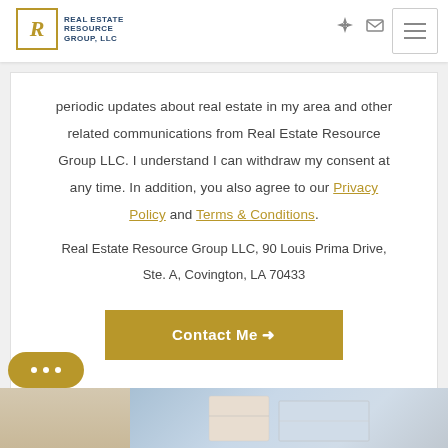[Figure (logo): Real Estate Resource Group LLC logo with ornate R monogram and company name in navy blue text]
periodic updates about real estate in my area and other related communications from Real Estate Resource Group LLC. I understand I can withdraw my consent at any time. In addition, you also agree to our Privacy Policy and Terms & Conditions.
Real Estate Resource Group LLC, 90 Louis Prima Drive, Ste. A, Covington, LA 70433
Contact Me →
[Figure (photo): Partial exterior architectural photo showing building facade and sky]